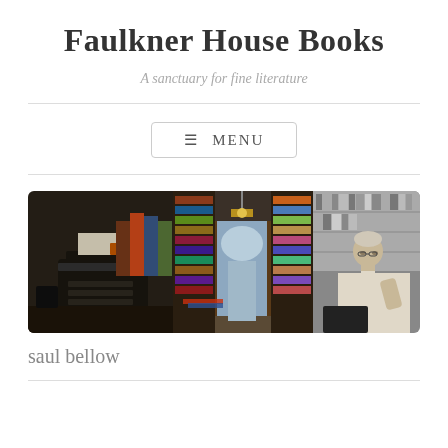Faulkner House Books
A sanctuary for fine literature
≡ MENU
[Figure (photo): Three-panel collage: left panel shows a vintage typewriter with stacked books; center panel shows the interior of a bookshop with floor-to-ceiling shelves, a chandelier, and arched window; right panel shows a black-and-white photo of an older man reading at a desk with bookshelves behind him.]
saul bellow